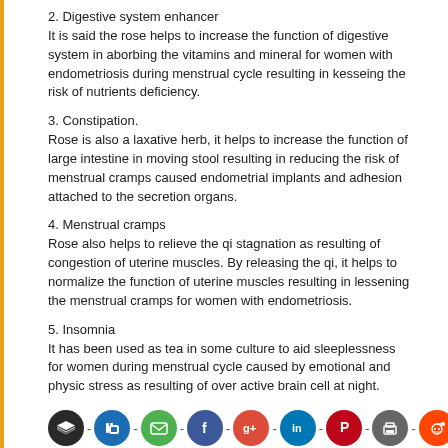2. Digestive system enhancer
It is said the rose helps to increase the function of digestive system in aborbing the vitamins and mineral for women with endometriosis during menstrual cycle resulting in kesseing the risk of nutrients deficiency.
3. Constipation.
Rose is also a laxative herb, it helps to increase the function of large intestine in moving stool resulting in reducing the risk of menstrual cramps caused endometrial implants and adhesion attached to the secretion organs.
4. Menstrual cramps
Rose also helps to relieve the qi stagnation as resulting of congestion of uterine muscles. By releasing the qi, it helps to normalize the function of uterine muscles resulting in lessening the menstrual cramps for women with endometriosis.
5. Insomnia
It has been used as tea in some culture to aid sleeplessness for women during menstrual cycle caused by emotional and physic stress as resulting of over active brain cell at night.
[Figure (infographic): Row of social media sharing icon buttons (layered, digg, email, facebook, google+, linkedin, pinterest, print, reddit, stumbleupon) and second row (tumblr, twitter, vk, yummly) separated by dashes]
By Kyle J. Norton Health article writer